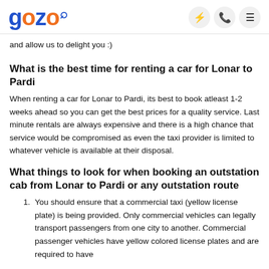gozo [logo with pin icon, lightning bolt, phone, menu icons]
and allow us to delight you :)
What is the best time for renting a car for Lonar to Pardi
When renting a car for Lonar to Pardi, its best to book atleast 1-2 weeks ahead so you can get the best prices for a quality service. Last minute rentals are always expensive and there is a high chance that service would be compromised as even the taxi provider is limited to whatever vehicle is available at their disposal.
What things to look for when booking an outstation cab from Lonar to Pardi or any outstation route
You should ensure that a commercial taxi (yellow license plate) is being provided. Only commercial vehicles can legally transport passengers from one city to another. Commercial passenger vehicles have yellow colored license plates and are required to have